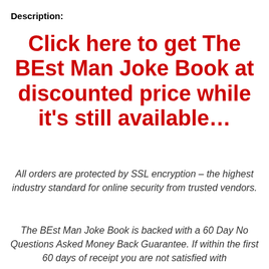Description:
Click here to get The BEst Man Joke Book at discounted price while it's still available…
All orders are protected by SSL encryption – the highest industry standard for online security from trusted vendors.
The BEst Man Joke Book is backed with a 60 Day No Questions Asked Money Back Guarantee. If within the first 60 days of receipt you are not satisfied with